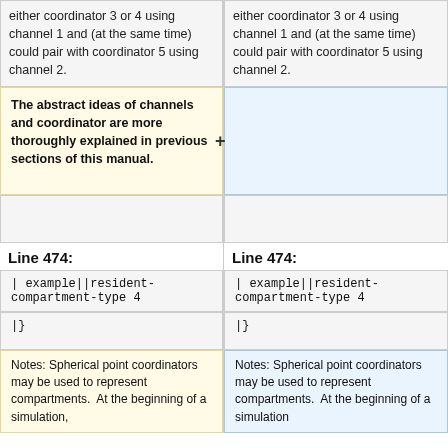either coordinator 3 or 4 using channel 1 and (at the same time) could pair with coordinator 5 using channel 2.
either coordinator 3 or 4 using channel 1 and (at the same time) could pair with coordinator 5 using channel 2.
The abstract ideas of channels and coordinator are more thoroughly explained in previous sections of this manual.
Line 474:
Line 474:
| example||resident-compartment-type 4
| example||resident-compartment-type 4
|}
|}
Notes: Spherical point coordinators may be used to represent compartments.  At the beginning of a simulation,
Notes: Spherical point coordinators may be used to represent compartments.  At the beginning of a simulation,